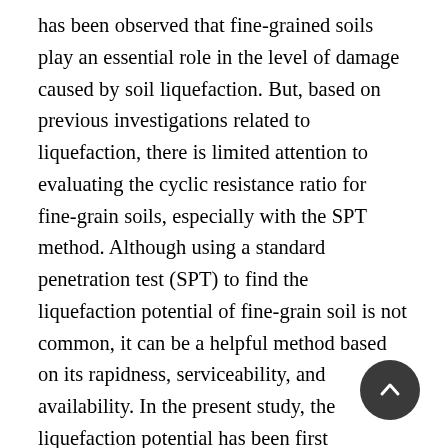has been observed that fine-grained soils play an essential role in the level of damage caused by soil liquefaction. But, based on previous investigations related to liquefaction, there is limited attention to evaluating the cyclic resistance ratio for fine-grain soils, especially with the SPT method. Although using a standard penetration test (SPT) to find the liquefaction potential of fine-grain soil is not common, it can be a helpful method based on its rapidness, serviceability, and availability. In the present study, the liquefaction potential has been first determined by the soil's physical properties obtained from laboratory tests. Then, using the SPT test and its available criterion for evaluating the cyclic resistance ratio and safety factor of liquefaction, the correction of effecting fine-grained soils is made, and then the results are compared. The results show that using the SPT test for liquefaction is more accurate than using laboratory tests in most